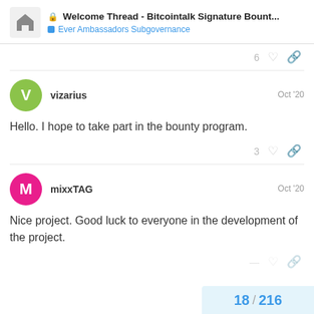Welcome Thread - Bitcointalk Signature Bount... | Ever Ambassadors Subgovernance
vizarius | Oct '20
Hello. I hope to take part in the bounty program.
mixxTAG | Oct '20
Nice project. Good luck to everyone in the development of the project.
18 / 216